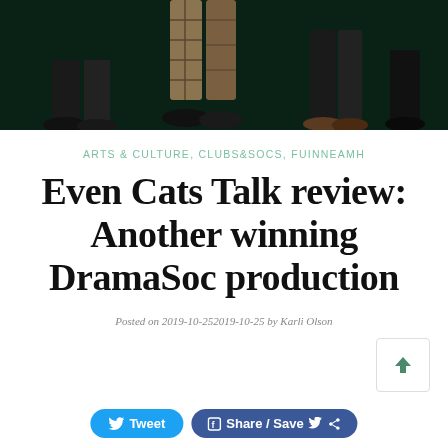[Figure (photo): Dark photo showing feet and legs of multiple people standing on a dark green/black floor. Visible are sneakers, dress shoes, and plaid/checkered pants.]
ARTS & CULTURE, CLUBS&SOCS, FUINNEAMH
Even Cats Talk review: Another winning DramaSoc production
Posted on 2019-10-252019-10-25 by Karli Olson